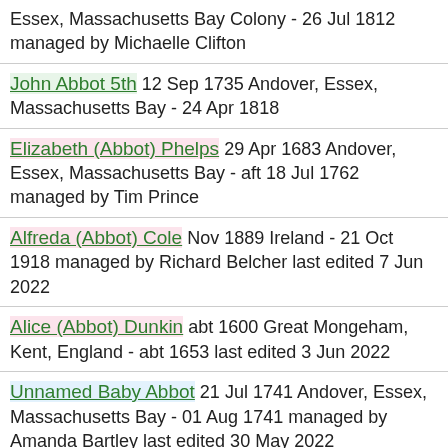Essex, Massachusetts Bay Colony - 26 Jul 1812 managed by Michaelle Clifton
John Abbot 5th 12 Sep 1735 Andover, Essex, Massachusetts Bay - 24 Apr 1818
Elizabeth (Abbot) Phelps 29 Apr 1683 Andover, Essex, Massachusetts Bay - aft 18 Jul 1762 managed by Tim Prince
Alfreda (Abbot) Cole Nov 1889 Ireland - 21 Oct 1918 managed by Richard Belcher last edited 7 Jun 2022
Alice (Abbot) Dunkin abt 1600 Great Mongeham, Kent, England - abt 1653 last edited 3 Jun 2022
Unnamed Baby Abbot 21 Jul 1741 Andover, Essex, Massachusetts Bay - 01 Aug 1741 managed by Amanda Bartley last edited 30 May 2022
Lydia (Abbot) Town 1752 - 10 Jan 1775 last edited 28 May 2022